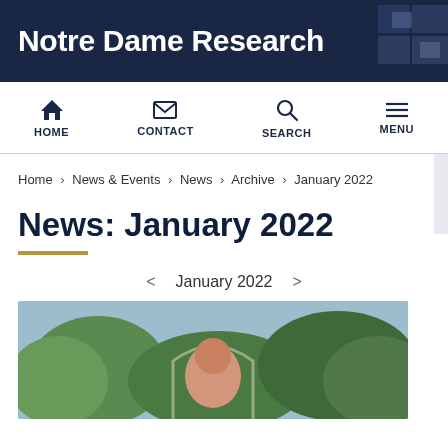Notre Dame Research
HOME  CONTACT  SEARCH  MENU
Home › News & Events › News › Archive › January 2022
News: January 2022
< January 2022 >
[Figure (photo): Photograph of a person outdoors with trees and architectural arch in background]